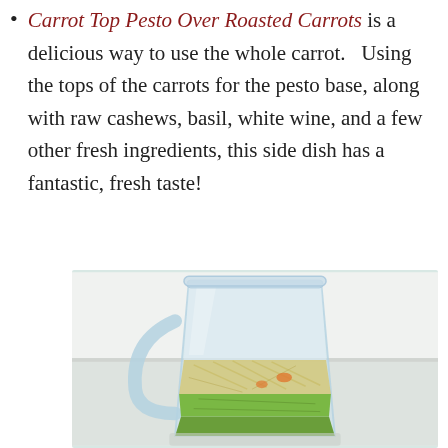Carrot Top Pesto Over Roasted Carrots is a delicious way to use the whole carrot.   Using the tops of the carrots for the pesto base, along with raw cashews, basil, white wine, and a few other fresh ingredients, this side dish has a fantastic, fresh taste!
[Figure (photo): A glass blender jar containing green pesto at the bottom with lighter colored shredded/grated ingredients on top, set against a white background.]